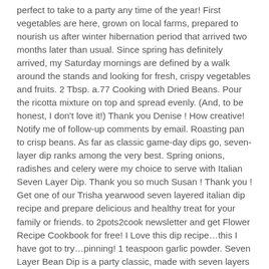perfect to take to a party any time of the year! First vegetables are here, grown on local farms, prepared to nourish us after winter hibernation period that arrived two months later than usual. Since spring has definitely arrived, my Saturday mornings are defined by a walk around the stands and looking for fresh, crispy vegetables and fruits. 2 Tbsp. a.77 Cooking with Dried Beans. Pour the ricotta mixture on top and spread evenly. (And, to be honest, I don't love it!) Thank you Denise ! How creative! Notify me of follow-up comments by email. Roasting pan to crisp beans. As far as classic game-day dips go, seven-layer dip ranks among the very best. Spring onions, radishes and celery were my choice to serve with Italian Seven Layer Dip. Thank you so much Susan ! Thank you ! Get one of our Trisha yearwood seven layered italian dip recipe and prepare delicious and healthy treat for your family or friends. to 2pots2cook newsletter and get Flower Recipe Cookbook for free! I Love this dip recipe…this I have got to try…pinning! 1 teaspoon garlic powder. Seven Layer Bean Dip is a party classic, made with seven layers of the perfect dip ingredients like sour cream, salsa, cheese, tomatoes, olives, and more. Pretty old fashioned way, isn't it ? Such a great idea to make it using white beans ! Colourful and inviting; not easy to stop eating . 1/2 cup chicken stock. All Mediterranean variations are wonderful – my husband really misses out not loving olives! Purée until smooth. Here's one of my favorite party dips